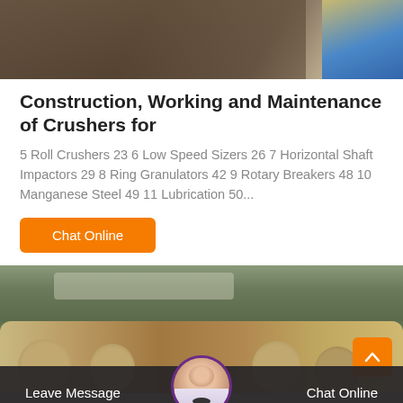[Figure (photo): Top partial image showing industrial/construction ground with pallets and blue plastic components visible on the right side]
Construction, Working and Maintenance of Crushers for
5 Roll Crushers 23 6 Low Speed Sizers 26 7 Horizontal Shaft Impactors 29 8 Ring Granulators 42 9 Rotary Breakers 48 10 Manganese Steel 49 11 Lubrication 50...
[Figure (other): Chat Online button (orange)]
[Figure (photo): Bottom image showing industrial machinery/crusher equipment with vegetation and concrete wall in background, scroll-up orange button overlay]
[Figure (other): Bottom navigation bar with Leave Message and Chat Online options, with customer service avatar in center]